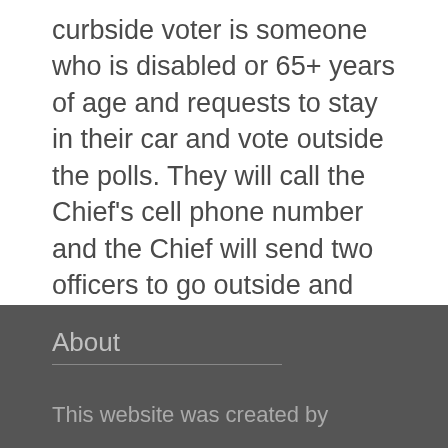curbside voter is someone who is disabled or 65+ years of age and requests to stay in their car and vote outside the polls. They will call the Chief's cell phone number and the Chief will send two officers to go outside and help them. (Do not question someone if they ask to vote curbside.)
You may notice there is no Provisional Voter flag. If someone is a Provisional voter, you NEVER check them in on the Poll Pad; instead, immediately refer them to the Chief.
About
This website was created by